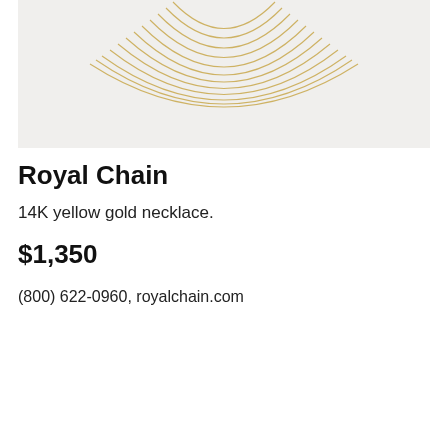[Figure (photo): Multi-strand gold chain necklace draped in cascading layers against a light gray background, viewed from the front showing the draping arc of approximately 12 fine gold chains.]
Royal Chain
14K yellow gold necklace.
$1,350
(800) 622-0960, royalchain.com